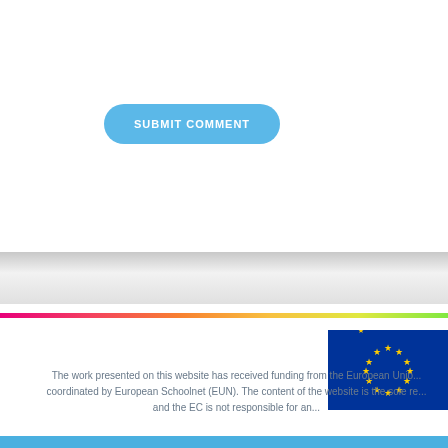SUBMIT COMMENT
[Figure (other): Gray decorative horizontal band with gradient]
[Figure (other): Rainbow gradient horizontal strip going from pink/magenta on the left to green on the right]
[Figure (other): European Union flag — blue rectangle with circle of 12 yellow stars]
The work presented on this website has received funding from the European Unio... coordinated by European Schoolnet (EUN). The content of the website is the sole re... and the EC is not responsible for an...